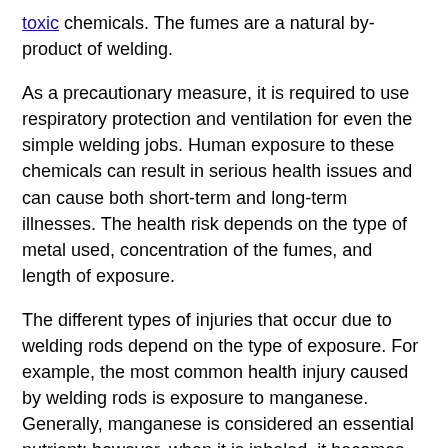toxic chemicals. The fumes are a natural by-product of welding.
As a precautionary measure, it is required to use respiratory protection and ventilation for even the simple welding jobs. Human exposure to these chemicals can result in serious health issues and can cause both short-term and long-term illnesses. The health risk depends on the type of metal used, concentration of the fumes, and length of exposure.
The different types of injuries that occur due to welding rods depend on the type of exposure. For example, the most common health injury caused by welding rods is exposure to manganese. Generally, manganese is considered an essential nutrient; however, when it is inhaled, it becomes dangerous because it bypasses the defense mechanisms and accumulates in the body. This can lead to severe damage to the lungs, liver, kidney and the central nervous system.
It can also cause short-term health problems which include memory loss, poor hand-eye coordination, changed mood, and